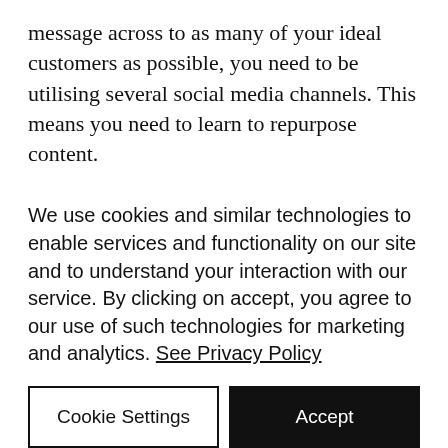message across to as many of your ideal customers as possible, you need to be utilising several social media channels. This means you need to learn to repurpose content.

A blog post can be turned into a video that goes on YouTube. It can also be broken down into tweets. The long video can be edited, showing only highlights up to 1 minute and that ca...
We use cookies and similar technologies to enable services and functionality on our site and to understand your interaction with our service. By clicking on accept, you agree to our use of such technologies for marketing and analytics. See Privacy Policy
Cookie Settings
Accept